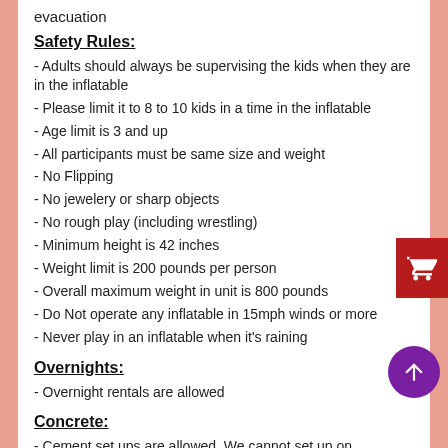evacuation
Safety Rules:
- Adults should always be supervising the kids when they are in the inflatable
- Please limit it to 8 to 10 kids in a time in the inflatable
- Age limit is 3 and up
- All participants must be same size and weight
- No Flipping
- No jewelery or sharp objects
- No rough play (including wrestling)
- Minimum height is 42 inches
- Weight limit is 200 pounds per person
- Overall maximum weight in unit is 800 pounds
- Do Not operate any inflatable in 15mph winds or more
- Never play in an inflatable when it's raining
Overnights:
- Overnight rentals are allowed
Concrete:
- Cement set ups are allowed. We cannot set up on